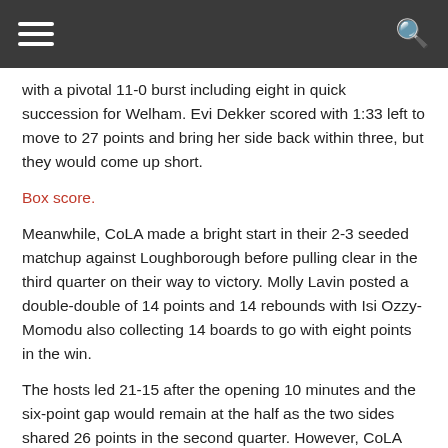☰  🔍
with a pivotal 11-0 burst including eight in quick succession for Welham. Evi Dekker scored with 1:33 left to move to 27 points and bring her side back within three, but they would come up short.
Box score.
Meanwhile, CoLA made a bright start in their 2-3 seeded matchup against Loughborough before pulling clear in the third quarter on their way to victory. Molly Lavin posted a double-double of 14 points and 14 rebounds with Isi Ozzy-Momodu also collecting 14 boards to go with eight points in the win.
The hosts led 21-15 after the opening 10 minutes and the six-point gap would remain at the half as the two sides shared 26 points in the second quarter. However, CoLA held their opponents to just eight points in the third as they extended the gap to 13 points to take control.
Loughborough gave up 20 turnovers in the contest as their key